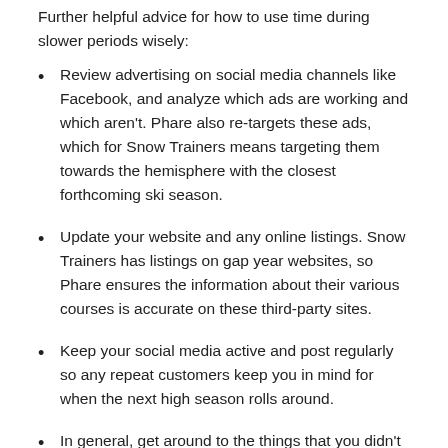Further helpful advice for how to use time during slower periods wisely:
Review advertising on social media channels like Facebook, and analyze which ads are working and which aren't. Phare also re-targets these ads, which for Snow Trainers means targeting them towards the hemisphere with the closest forthcoming ski season.
Update your website and any online listings. Snow Trainers has listings on gap year websites, so Phare ensures the information about their various courses is accurate on these third-party sites.
Keep your social media active and post regularly so any repeat customers keep you in mind for when the next high season rolls around.
In general, get around to the things that you didn't have time to take care of during your high season that will make your